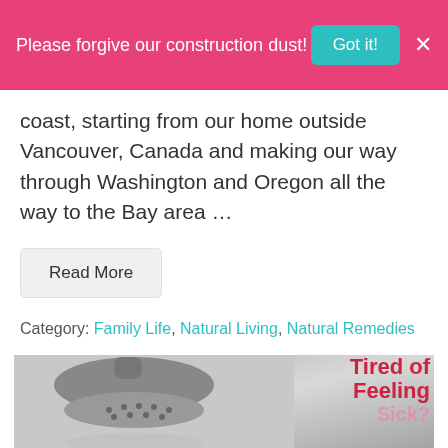Please forgive our construction dust! Got it! X
coast, starting from our home outside Vancouver, Canada and making our way through Washington and Oregon all the way to the Bay area …
Read More
Category: Family Life, Natural Living, Natural Remedies
[Figure (photo): Black and white photo of a showerhead with overlaid text reading 'Tired of Feeling Sick?']